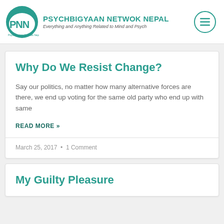PSYCHBIGYAAN NETWOK NEPAL — Everything and Anything Related to Mind and Psych
Why Do We Resist Change?
Say our politics, no matter how many alternative forces are there, we end up voting for the same old party who end up with same
READ MORE »
March 25, 2017  •  1 Comment
My Guilty Pleasure